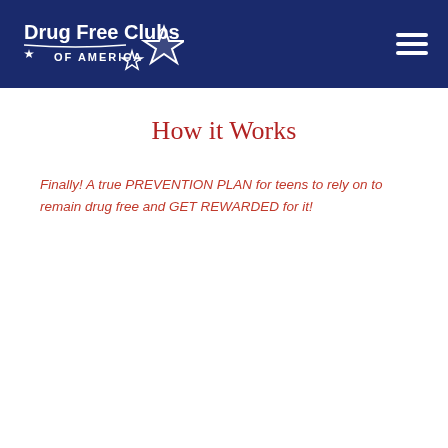[Figure (logo): Drug Free Clubs of America logo - white text and star graphic on dark navy blue header background]
How it Works
Finally! A true PREVENTION PLAN for teens to rely on to remain drug free and GET REWARDED for it!